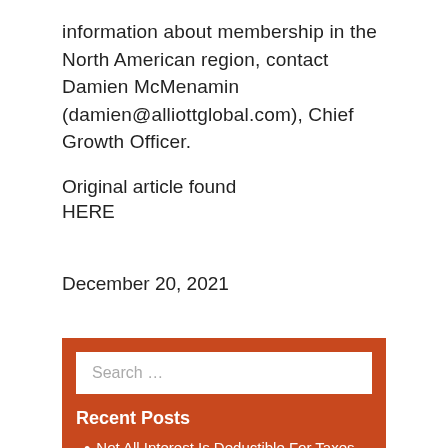information about membership in the North American region, contact Damien McMenamin (damien@alliottglobal.com), Chief Growth Officer.
Original article found HERE
December 20, 2021
Recent Posts
Not All Interest Is Deductible For Taxes
Don't Overlook Your Charitable Contributions